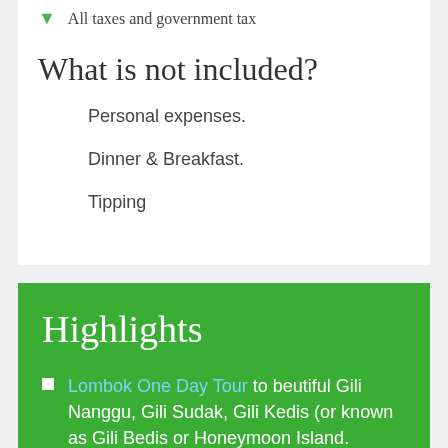All taxes and government tax
What is not included?
Personal expenses.
Dinner & Breakfast.
Tipping
Highlights
Lombok One Day Tour to beutiful Gili Nanggu, Gili Sudak, Gili Kedis (or known as Gili Bedis or Honeymoon Island.